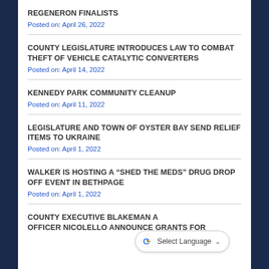REGENERON FINALISTS
Posted on: April 26, 2022
COUNTY LEGISLATURE INTRODUCES LAW TO COMBAT THEFT OF VEHICLE CATALYTIC CONVERTERS
Posted on: April 14, 2022
KENNEDY PARK COMMUNITY CLEANUP
Posted on: April 11, 2022
LEGISLATURE AND TOWN OF OYSTER BAY SEND RELIEF ITEMS TO UKRAINE
Posted on: April 1, 2022
WALKER IS HOSTING A “SHED THE MEDS” DRUG DROP OFF EVENT IN BETHPAGE
Posted on: April 1, 2022
COUNTY EXECUTIVE BLAKEMAN A... OFFICER NICOLELLO ANNOUNCE GRANTS FOR